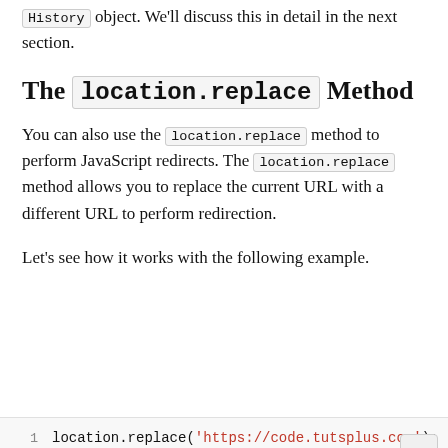History object. We'll discuss this in detail in the next section.
The location.replace Method
You can also use the location.replace method to perform JavaScript redirects. The location.replace method allows you to replace the current URL with a different URL to perform redirection.
Let's see how it works with the following example.
location.replace('https://code.tutsplus.com');